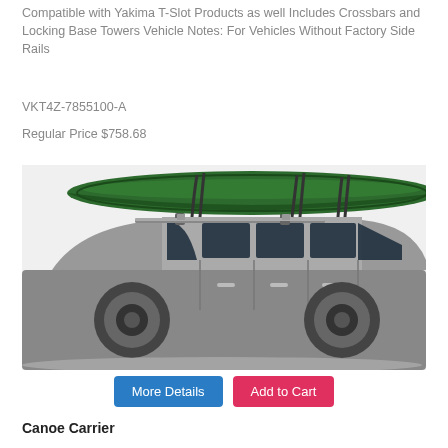Compatible with Yakima T-Slot Products as well Includes Crossbars and Locking Base Towers Vehicle Notes: For Vehicles Without Factory Side Rails
VKT4Z-7855100-A
Regular Price $758.68
[Figure (photo): A green canoe strapped to the roof rack of a dark silver SUV/station wagon using black straps and crossbars. The canoe is positioned horizontally across two crossbars. The vehicle is photographed from the side on a white background.]
More Details
Add to Cart
Canoe Carrier